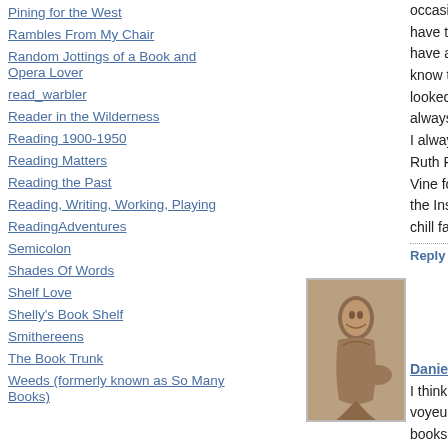Pining for the West
Rambles From My Chair
Random Jottings of a Book and Opera Lover
read_warbler
Reader in the Wilderness
Reading 1900-1950
Reading Matters
Reading the Past
Reading, Writing, Working, Playing
ReadingAdventures
Semicolon
Shades Of Words
Shelf Love
Shelly's Book Shelf
Smithereens
The Book Trunk
Weeds (formerly known as So Many Books)
occasionally I q... have to look an... have acquired a... know they didn't... looked a year o... always hope! I always prefe... Ruth Rendell or... Vine for some r... the Insp Wexfor... chill factor I thi...
Reply    Nove
[Figure (photo): Sepia-toned vintage photograph of a seated figure]
Danielle said in r...
I think... voyeu... books... psych... novel... variet... of like...